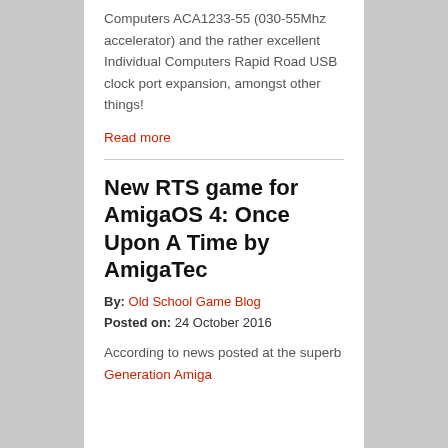Computers ACA1233-55 (030-55Mhz accelerator) and the rather excellent Individual Computers Rapid Road USB clock port expansion, amongst other things!
Read more
New RTS game for AmigaOS 4: Once Upon A Time by AmigaTec
By: Old School Game Blog
Posted on: 24 October 2016
According to news posted at the superb Generation Amiga